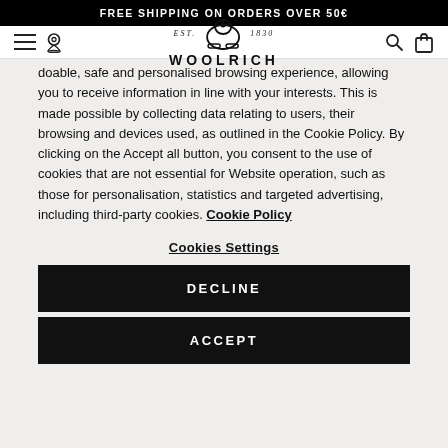FREE SHIPPING ON ORDERS OVER 50€
[Figure (logo): Woolrich brand logo with sheep icon, EST. 1830 text]
doable, safe and personalised browsing experience, allowing you to receive information in line with your interests. This is made possible by collecting data relating to users, their browsing and devices used, as outlined in the Cookie Policy. By clicking on the Accept all button, you consent to the use of cookies that are not essential for Website operation, such as those for personalisation, statistics and targeted advertising, including third-party cookies. Cookie Policy
Cookies Settings
DECLINE
ACCEPT